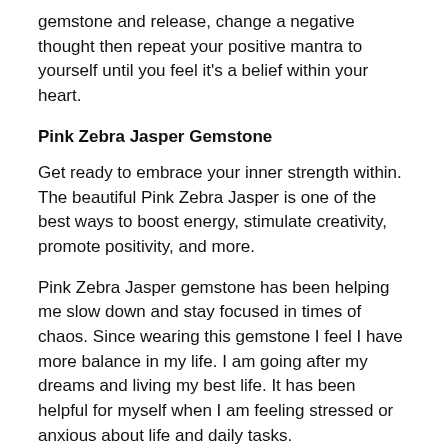gemstone and release, change a negative thought then repeat your positive mantra to yourself until you feel it's a belief within your heart.
Pink Zebra Jasper Gemstone
Get ready to embrace your inner strength within. The beautiful Pink Zebra Jasper is one of the best ways to boost energy, stimulate creativity, promote positivity, and more.
Pink Zebra Jasper gemstone has been helping me slow down and stay focused in times of chaos. Since wearing this gemstone I feel I have more balance in my life. I am going after my dreams and living my best life. It has been helpful for myself when I am feeling stressed or anxious about life and daily tasks.
With the negativity we can encounter in our daily lives, it's important to have a reminder that we are strong and beautiful. Pink Zebra Jasper is a must have gemstone for your self-care collection.